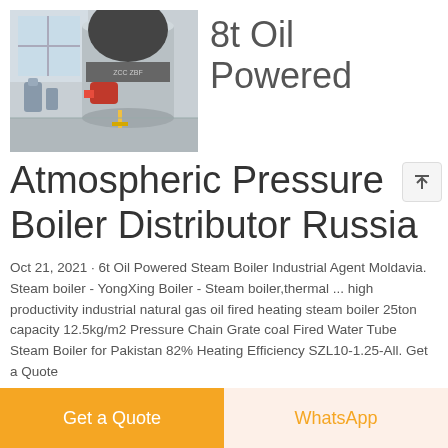[Figure (photo): Industrial oil-powered steam boiler in a factory setting]
8t Oil Powered Atmospheric Pressure Boiler Distributor Russia
Oct 21, 2021 · 6t Oil Powered Steam Boiler Industrial Agent Moldavia. Steam boiler - YongXing Boiler - Steam boiler,thermal ... high productivity industrial natural gas oil fired heating steam boiler 25ton capacity 12.5kg/m2 Pressure Chain Grate coal Fired Water Tube Steam Boiler for Pakistan 82% Heating Efficiency SZL10-1.25-All. Get a Quote
GET A QUOTE
Get a Quote
WhatsApp